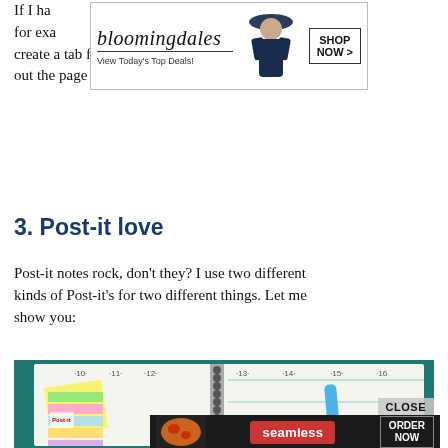If I ha[d a large project to manage], me, for exa[mple,] create a tab for that, too.  Once it's over, I just tear out the page and toss it.
[Figure (photo): Bloomingdale's advertisement banner with logo, model in hat, 'View Today's Top Deals!' tagline, and 'SHOP NOW >' button]
3.  Post-it love
Post-it notes rock, don't they?  I use two different kinds of Post-it's for two different things.  Let me show you:
[Figure (photo): Photo of a weekly planner/agenda with Post-it sticky notes in multiple colors, a blue highlighter marker resting on the open pages, on a teal background]
[Figure (photo): Seamless food delivery advertisement with pizza image, red 'seamless' pill logo, and 'ORDER NOW' button in dark banner, with 'CLOSE' button overlay]